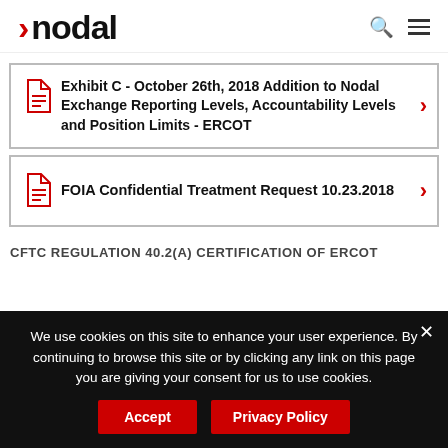nodal
Exhibit C - October 26th, 2018 Addition to Nodal Exchange Reporting Levels, Accountability Levels and Position Limits - ERCOT
FOIA Confidential Treatment Request 10.23.2018
CFTC REGULATION 40.2(A) CERTIFICATION OF ERCOT
We use cookies on this site to enhance your user experience. By continuing to browse this site or by clicking any link on this page you are giving your consent for us to use cookies.